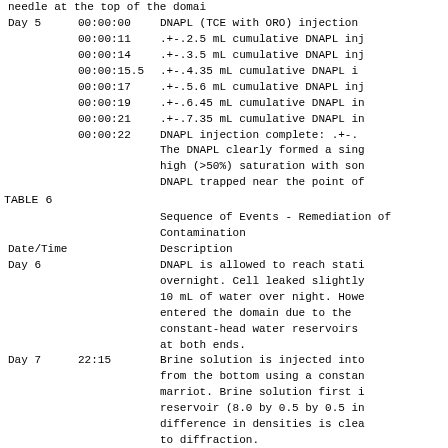| Date/Time | Time | Description |
| --- | --- | --- |
| Day 5 | 00:00:00 | DNAPL (TCE with ORO) injection |
|  | 00:00:11 | .+-.2.5 mL cumulative DNAPL inj |
|  | 00:00:14 | .+-.3.5 mL cumulative DNAPL inj |
|  | 00:00:15.5 | .+-.4.35 mL cumulative DNAPL i |
|  | 00:00:17 | .+-.5.6 mL cumulative DNAPL inj |
|  | 00:00:19 | .+-.6.45 mL cumulative DNAPL in |
|  | 00:00:21 | .+-.7.35 mL cumulative DNAPL in |
|  | 00:00:22 | DNAPL injection complete: .+-. The DNAPL clearly formed a sing high (>50%) saturation with son DNAPL trapped near the point of |
TABLE 6
| Date/Time | Description |
| --- | --- |
| Sequence of Events - Remediation of Contamination |  |
| Date/Time | Description |
| Day 6 | DNAPL is allowed to reach stat overnight. Cell leaked slightly 10 mL of water over night. Howe entered the domain due to the constant-head water reservoirs at both ends. |
| Day 7  22:15 | Brine solution is injected int from the bottom using a constar marriot. Brine solution first i reservoir (8.0 by 0.5 by 0.5 in difference in densities is clea to diffraction. |
| 22:22 | Brine begins to enter the glass the bottom and is visible as it |